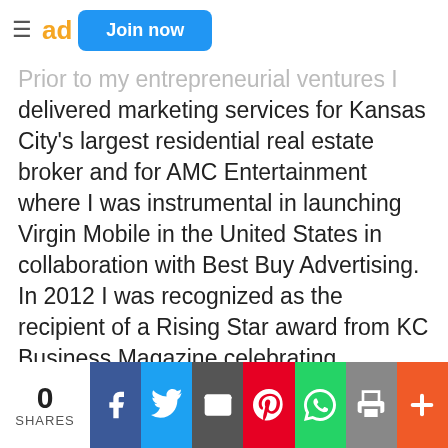ad   Join now
Prior to my entrepreneurial ventures I delivered marketing services for Kansas City's largest residential real estate broker and for AMC Entertainment where I was instrumental in launching Virgin Mobile in the United States in collaboration with Best Buy Advertising.
In 2012 I was recognized as the recipient of a Rising Star award from KC Business Magazine celebrating business leaders under the age of 40.
0 SHARES | Facebook | Twitter | Email | Pinterest | WhatsApp | Print | Plus